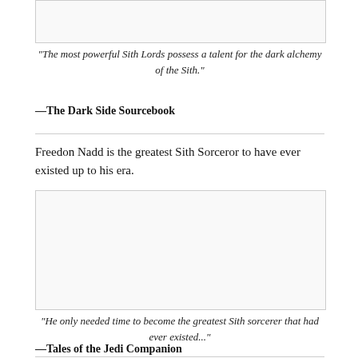[Figure (other): Empty image box at top of page]
"The most powerful Sith Lords possess a talent for the dark alchemy of the Sith."
—The Dark Side Sourcebook
Freedon Nadd is the greatest Sith Sorceror to have ever existed up to his era.
[Figure (other): Empty image box in middle of page]
"He only needed time to become the greatest Sith sorcerer that had ever existed..."
—Tales of the Jedi Companion